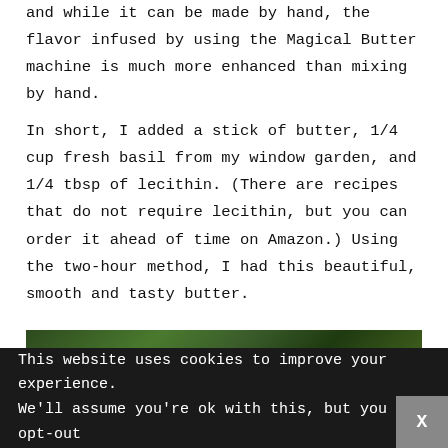and while it can be made by hand, the flavor infused by using the Magical Butter machine is much more enhanced than mixing by hand.
In short, I added a stick of butter, 1/4 cup fresh basil from my window garden, and 1/4 tbsp of lecithin. (There are recipes that do not require lecithin, but you can order it ahead of time on Amazon.) Using the two-hour method, I had this beautiful, smooth and tasty butter.
[Figure (photo): Green plants or herbs, partial view at bottom of page]
This website uses cookies to improve your experience. We'll assume you're ok with this, but you can opt-out